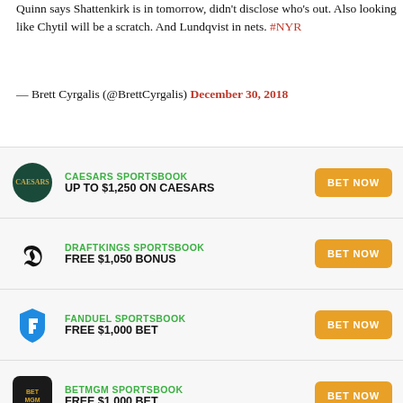Quinn says Shattenkirk is in tomorrow, didn't disclose who's out. Also looking like Chytil will be a scratch. And Lundqvist in nets. #NYR
— Brett Cyrgalis (@BrettCyrgalis) December 30, 2018
CAESARS SPORTSBOOK — UP TO $1,250 ON CAESARS — BET NOW
DRAFTKINGS SPORTSBOOK — FREE $1,050 BONUS — BET NOW
FANDUEL SPORTSBOOK — FREE $1,000 BET — BET NOW
BETMGM SPORTSBOOK — FREE $1,000 BET — BET NOW